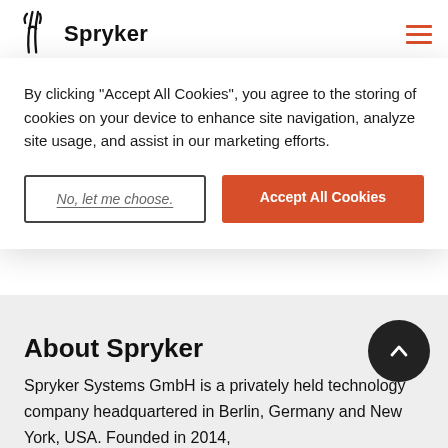Spryker
By clicking "Accept All Cookies", you agree to the storing of cookies on your device to enhance site navigation, analyze site usage, and assist in our marketing efforts.
No, let me choose.
Accept All Cookies
About Spryker
Spryker Systems GmbH is a privately held technology company headquartered in Berlin, Germany and New York, USA. Founded in 2014,